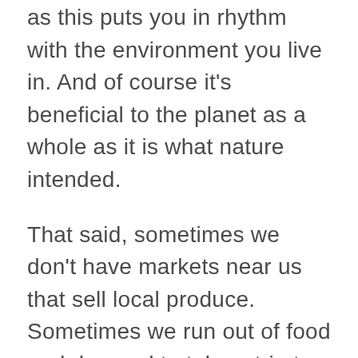as this puts you in rhythm with the environment you live in. And of course it's beneficial to the planet as a whole as it is what nature intended.
That said, sometimes we don't have markets near us that sell local produce. Sometimes we run out of food and do need to take a trip to the grocery store. And sometimes there are items that we simply cannot find at the local markets, like dried goods and bulk items, that require (so to speak) to go grocery shopping at a super market.
That being said, some of the tips I recommend below can be utilized at your local farmers market, as anytime we are shopping we should be conscious of what we are buying, how it is